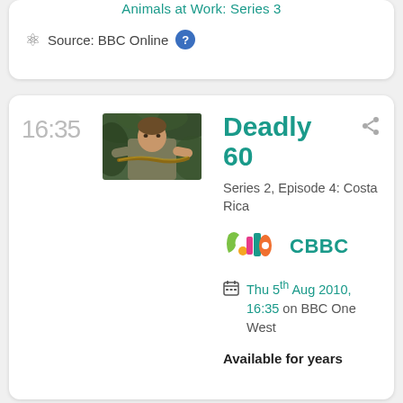Animals at Work: Series 3
Source: BBC Online
16:35
[Figure (photo): Man in jungle holding a snake, wildlife presenter outdoors]
Deadly 60
Series 2, Episode 4: Costa Rica
[Figure (logo): CBBC colourful logo]
CBBC
Thu 5th Aug 2010, 16:35 on BBC One West
Available for years